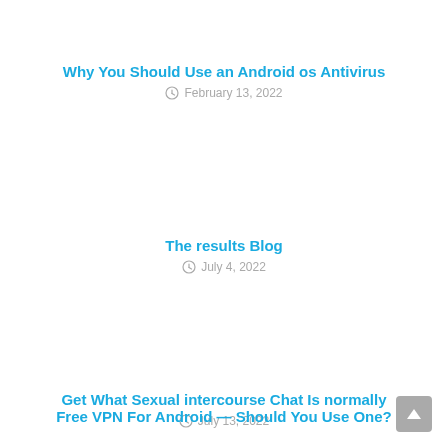Why You Should Use an Android os Antivirus
February 13, 2022
The results Blog
July 4, 2022
Get What Sexual intercourse Chat Is normally
July 13, 2022
Free VPN For Android — Should You Use One?